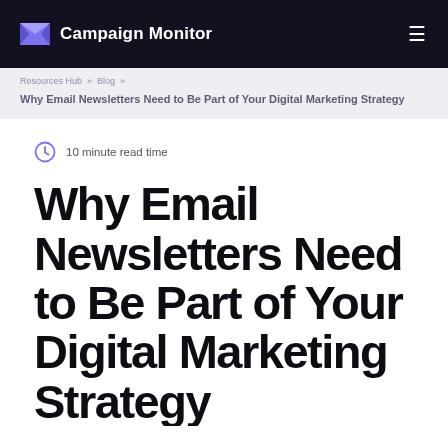Campaign Monitor
Resources Hub » Blog »
Why Email Newsletters Need to Be Part of Your Digital Marketing Strategy
10 minute read time
Why Email Newsletters Need to Be Part of Your Digital Marketing Strategy